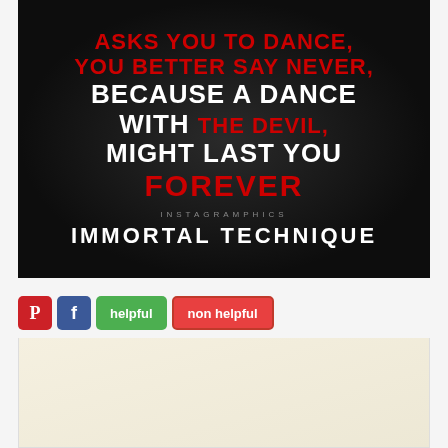[Figure (illustration): Dark motivational quote image with text: 'ASKS YOU TO DANCE, YOU BETTER SAY NEVER, BECAUSE A DANCE WITH THE DEVIL, MIGHT LAST YOU FOREVER' attributed to IMMORTAL TECHNIQUE, with INSTAGRAMPHICS watermark. Red and white bold text on dark background.]
helpful | non helpful (social sharing buttons: Pinterest, Facebook)